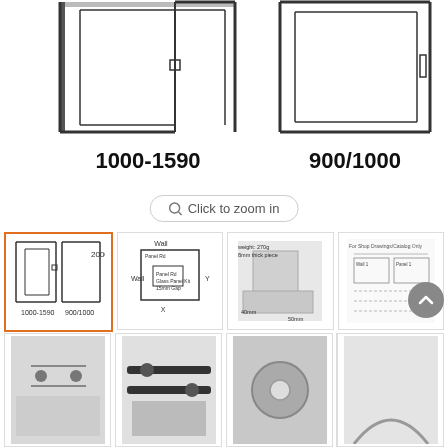[Figure (engineering-diagram): Two shower enclosure diagrams side by side. Left shows a corner configuration labeled 1000-1590, right shows a single panel labeled 900/1000. Both drawn with black outlines showing glass panels and hardware.]
Click to zoom in
[Figure (engineering-diagram): Thumbnail 1: The main shower enclosure diagram (selected, orange border) showing both panels with dimensions 1000-1590 and 900/1000.]
[Figure (schematic): Thumbnail 2: Floor plan schematic showing Wall, Panel Kit labels, X and Y axes, with dimensions and component labels.]
[Figure (photo): Thumbnail 3: Photo of a glass patch fitting/clamp, weight 270g, 8mm thick piece, dimensions 40mm x 50mm shown.]
[Figure (engineering-diagram): Thumbnail 4: Technical drawing showing installation guide for glass mounting, panel dimensions labeled.]
[Figure (logo): Thumbnail 5: Australian Standard Certified Product logo - red background with white chevron/tick marks, text 'Certified Product TM' and 'Australian Standard'.]
[Figure (photo): Bottom row thumbnail 1: Photo of shower glass with hardware clips visible.]
[Figure (photo): Bottom row thumbnail 2: Photo of sliding door track hardware system.]
[Figure (photo): Bottom row thumbnail 3: Photo of a round glass patch fitting/hinge.]
[Figure (photo): Bottom row thumbnail 4: Partial view of a curved fitting or bracket.]